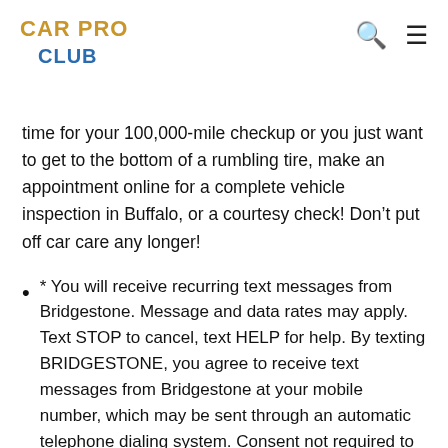CAR PRO CLUB
time for your 100,000-mile checkup or you just want to get to the bottom of a rumbling tire, make an appointment online for a complete vehicle inspection in Buffalo, or a courtesy check! Don’t put off car care any longer!
* You will receive recurring text messages from Bridgestone. Message and data rates may apply. Text STOP to cancel, text HELP for help. By texting BRIDGESTONE, you agree to receive text messages from Bridgestone at your mobile number, which may be sent through an automatic telephone dialing system. Consent not required to be considered for employment. View our privacy policy here and our Terms and Conditions here.